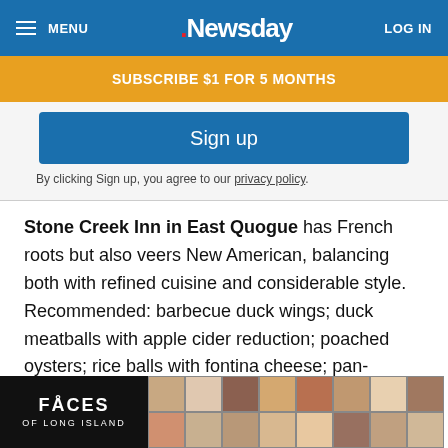MENU  Newsday  LOG IN
SUBSCRIBE $1 FOR 5 MONTHS
Sign up
By clicking Sign up, you agree to our privacy policy.
Stone Creek Inn in East Quogue has French roots but also veers New American, balancing both with refined cuisine and considerable style. Recommended: barbecue duck wings; duck meatballs with apple cider reduction; poached oysters; rice balls with fontina cheese; pan-roasted skate with cauliflower mousseline and leek fondue; soft shell crabs with spring vegetable fricassee; filet mignon au poivre ... nive.
[Figure (other): FACES OF LONG ISLAND promotional banner with grid of portrait photos]